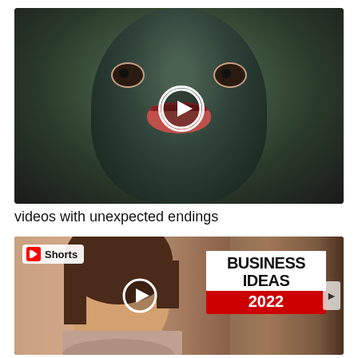[Figure (screenshot): Video thumbnail showing a person wearing a dark green/black face mask with face-like features (eyes and mouth) cut out, with a play button overlay in the center]
videos with unexpected endings
[Figure (screenshot): YouTube Shorts video thumbnail showing a woman smiling on the left side with a white overlay text reading 'BUSINESS IDEAS 2022' on the right side, with a YouTube Shorts badge in the top left corner and a play button overlay in the center]